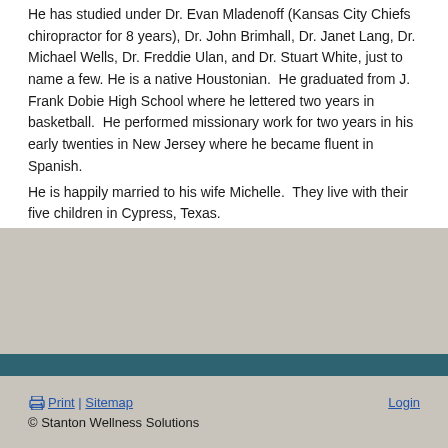He has studied under Dr. Evan Mladenoff (Kansas City Chiefs chiropractor for 8 years), Dr. John Brimhall, Dr. Janet Lang, Dr. Michael Wells, Dr. Freddie Ulan, and Dr. Stuart White, just to name a few. He is a native Houstonian. He graduated from J. Frank Dobie High School where he lettered two years in basketball. He performed missionary work for two years in his early twenties in New Jersey where he became fluent in Spanish.
He is happily married to his wife Michelle. They live with their five children in Cypress, Texas.
Print | Sitemap   Login
© Stanton Wellness Solutions